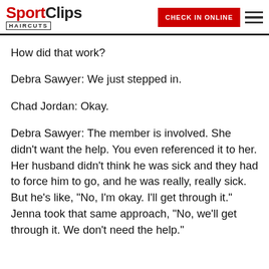SportClips Haircuts | CHECK IN ONLINE
How did that work?
Debra Sawyer: We just stepped in.
Chad Jordan: Okay.
Debra Sawyer: The member is involved. She didn't want the help. You even referenced it to her. Her husband didn't think he was sick and they had to force him to go, and he was really, really sick. But he's like, "No, I'm okay. I'll get through it." Jenna took that same approach, "No, we'll get through it. We don't need the help."